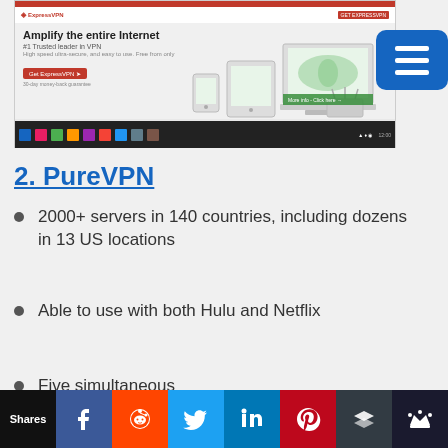[Figure (screenshot): Screenshot of ExpressVPN website showing 'Amplify the entire Internet' hero section with devices and a hamburger menu button overlay]
2. PureVPN
2000+ servers in 140 countries, including dozens in 13 US locations
Able to use with both Hulu and Netflix
Five simultaneous
Shares | Facebook | Reddit | Twitter | LinkedIn | Pinterest | Buffer | Crown